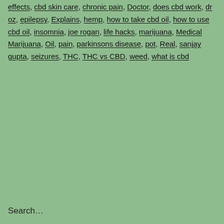effects, cbd skin care, chronic pain, Doctor, does cbd work, dr oz, epilepsy, Explains, hemp, how to take cbd oil, how to use cbd oil, insomnia, joe rogan, life hacks, marijuana, Medical Marijuana, Oil, pain, parkinsons disease, pot, Real, sanjay gupta, seizures, THC, THC vs CBD, weed, what is cbd
Search…